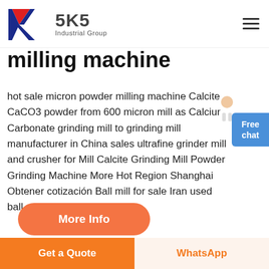[Figure (logo): SKS Industrial Group logo with red and blue K letter mark and text '5K5 Industrial Group']
milling machine
hot sale micron powder milling machine Calcite CaCO3 powder from 600 micron mill as Calcium Carbonate grinding mill to grinding mill manufacturer in China sales ultrafine grinder mill and crusher for Mill Calcite Grinding Mill Powder Grinding Machine More Hot Region Shanghai Obtener cotización Ball mill for sale Iran used ball mill
[Figure (illustration): Customer service person character with blue 'Free chat' button]
[Figure (other): More Info orange rounded button]
[Figure (photo): Industrial facility photo strip at bottom of content area]
Get a Quote   WhatsApp